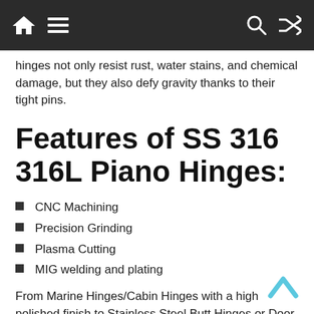Navigation bar with home, menu, search, and shuffle icons
hinges not only resist rust, water stains, and chemical damage, but they also defy gravity thanks to their tight pins.
Features of SS 316 316L Piano Hinges:
CNC Machining
Precision Grinding
Plasma Cutting
MIG welding and plating
From Marine Hinges/Cabin Hinges with a high polished finish to Stainless Steel Butt Hinges or Door Hinges, Tee Hinges, and Strap Hinges for gates. There are many different types of hinges